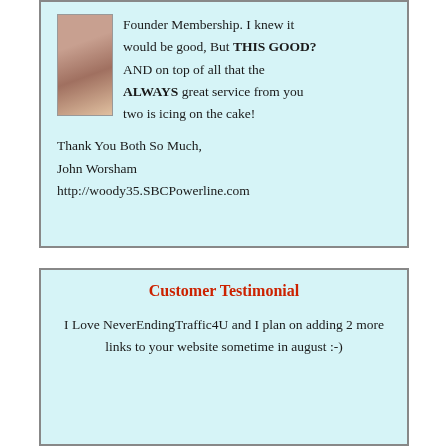[Figure (photo): Small portrait photo of a person]
Founder Membership. I knew it would be good, But THIS GOOD? AND on top of all that the ALWAYS great service from you two is icing on the cake!

Thank You Both So Much,
John Worsham
http://woody35.SBCPowerline.com
Customer Testimonial
I Love NeverEndingTraffic4U and I plan on adding 2 more links to your website sometime in august :-)